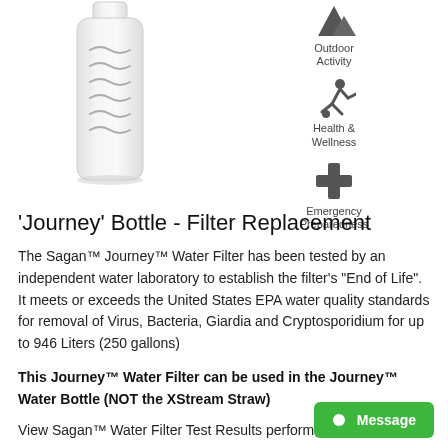[Figure (photo): Water filter bottle/cartridge product image — a white cylindrical filter with wave pattern markings]
[Figure (illustration): Icons for use cases: Outdoor Activity (mountain/hiker icon), Health & Wellness (running person with ball icon), Emergency Preparedness (cross/plus icon)]
'Journey' Bottle - Filter Replacement
The Sagan™ Journey™ Water Filter has been tested by an independent water laboratory to establish the filter's "End of Life". It meets or exceeds the United States EPA water quality standards for removal of Virus, Bacteria, Giardia and Cryptosporidium for up to 946 Liters (250 gallons)
This Journey™ Water Filter can be used in the Journey™ Water Bottle (NOT the XStream Straw)
View Sagan™ Water Filter Test Results performed by